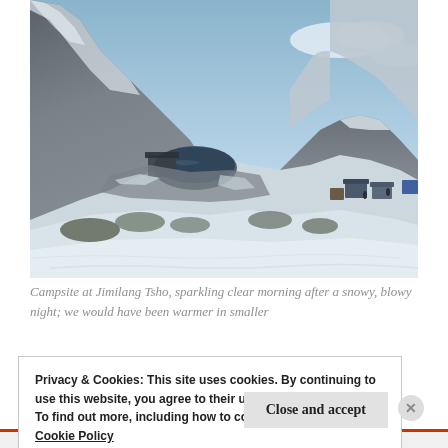[Figure (photo): Campsite at Jimilang Tsho, a high-altitude lake in a snowy mountain landscape. Panoramic view showing snow-covered hills, a dark blue lake in the middle distance, and small structures/tents on the right side. Blue sky with light clouds in the background.]
Campsite at Jimilang Tsho, sparkling clear morning after a snowy, blowy night; we would have been warmer in smaller
Privacy & Cookies: This site uses cookies. By continuing to use this website, you agree to their use.
To find out more, including how to control cookies, see here:
Cookie Policy
Close and accept